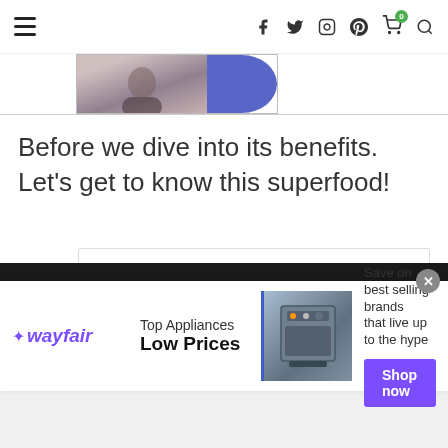Navigation bar with hamburger menu and social icons (f, twitter, instagram, pinterest, cart with 0 badge, search)
[Figure (photo): Partial image strip showing a person and a blue circle/oval shape]
Before we dive into its benefits. Let's get to know this superfood!
[Figure (screenshot): Ad box: All about Beauty & Hair Care P... / visit joyusabeauty.com/ to learn more / www.joyusabeauty.com]
[Figure (infographic): Wayfair advertisement: Top Appliances Low Prices - Save on best selling brands that live up to the hype - Shop now button]